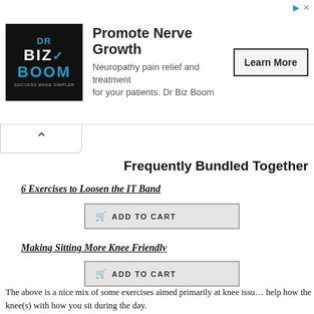[Figure (infographic): Advertisement banner for Dr Biz Boom featuring logo, headline 'Promote Nerve Growth', description text, and Learn More button]
Frequently Bundled Together
6 Exercises to Loosen the IT Band
ADD TO CART
Making Sitting More Knee Friendly
ADD TO CART
The above is a nice mix of some exercises aimed primarily at knee issues, help how the knee(s) with how you sit during the day.
I tend to recommend not grouping Mitigating Patellar Tracking Issues a mixture of the above, with it's own focus. For instance, if you're looking stiffness, the IT band manual is the way to go. If you're looking at pate